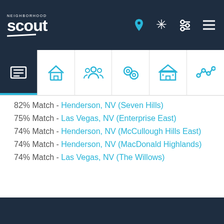Neighborhood Scout - top navigation bar
82% Match - Henderson, NV (Seven Hills)
75% Match - Las Vegas, NV (Enterprise East)
74% Match - Henderson, NV (McCullough Hills East)
74% Match - Henderson, NV (MacDonald Highlands)
74% Match - Las Vegas, NV (The Willows)
Footer bar